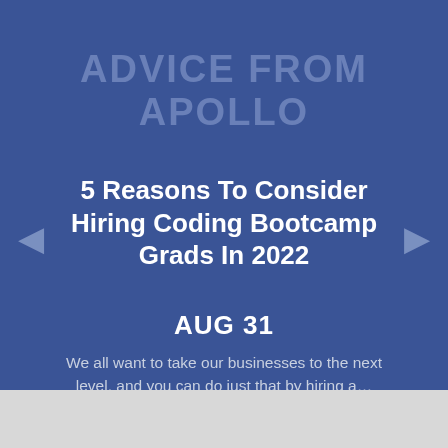ADVICE FROM APOLLO
5 Reasons To Consider Hiring Coding Bootcamp Grads In 2022
AUG 31
We all want to take our businesses to the next level, and you can do just that by hiring a… Read More »